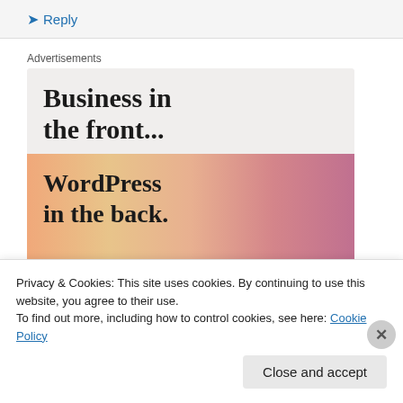Reply
Advertisements
[Figure (illustration): Advertisement banner with two sections: top section on light beige background with bold serif text 'Business in the front...', bottom section on peach/coral gradient background with bold serif text 'WordPress in the back.']
Privacy & Cookies: This site uses cookies. By continuing to use this website, you agree to their use.
To find out more, including how to control cookies, see here: Cookie Policy
Close and accept